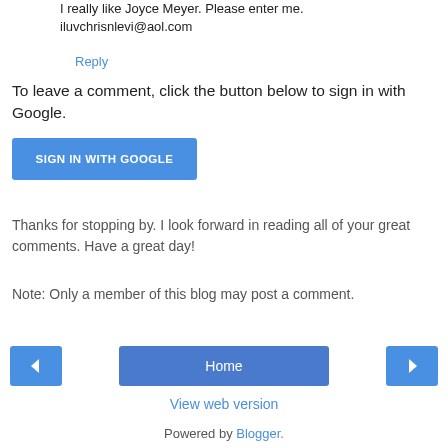I really like Joyce Meyer. Please enter me. iluvchrisnlevi@aol.com
Reply
To leave a comment, click the button below to sign in with Google.
[Figure (other): Blue button labeled SIGN IN WITH GOOGLE]
Thanks for stopping by. I look forward in reading all of your great comments. Have a great day!
Note: Only a member of this blog may post a comment.
[Figure (other): Navigation bar with left arrow button, Home button, and right arrow button]
View web version
Powered by Blogger.